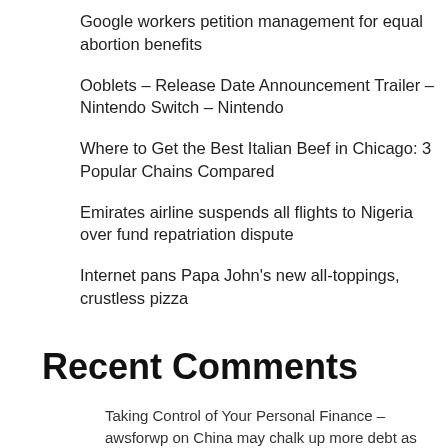Google workers petition management for equal abortion benefits
Ooblets – Release Date Announcement Trailer – Nintendo Switch – Nintendo
Where to Get the Best Italian Beef in Chicago: 3 Popular Chains Compared
Emirates airline suspends all flights to Nigeria over fund repatriation dispute
Internet pans Papa John's new all-toppings, crustless pizza
Recent Comments
Taking Control of Your Personal Finance – awsforwp on China may chalk up more debt as lockdowns hit the economy